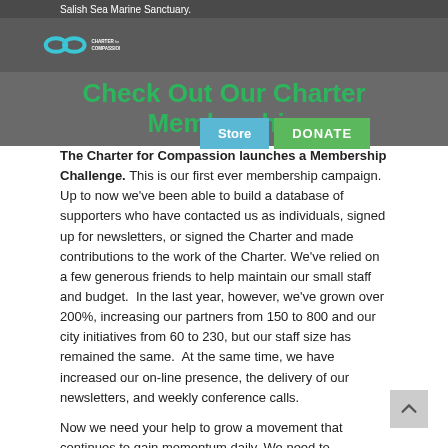Salish Sea Marine Sanctuary.
[Figure (logo): Charter for Compassion logo with infinity symbol in teal and text 'CHARTER FOR COMPASSION']
Check Out Our Charter Membership
The Charter for Compassion launches a Membership Challenge. This is our first ever membership campaign. Up to now we've been able to build a database of supporters who have contacted us as individuals, signed up for newsletters, or signed the Charter and made contributions to the work of the Charter. We've relied on a few generous friends to help maintain our small staff and budget.  In the last year, however, we've grown over 200%, increasing our partners from 150 to 800 and our city initiatives from 60 to 230, but our staff size has remained the same.  At the same time, we have increased our on-line presence, the delivery of our newsletters, and weekly conference calls.
Now we need your help to grow a movement that continues to gain momentum daily. We need to